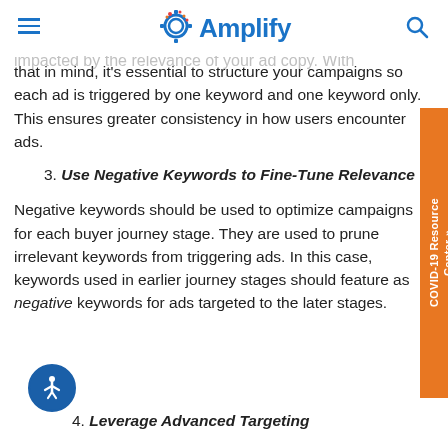Amplify
both your user experience and your ads Quality Score are impacted by the relevance of your ad copy. With that in mind, it's essential to structure your campaigns so each ad is triggered by one keyword and one keyword only. This ensures greater consistency in how users encounter ads.
3. Use Negative Keywords to Fine-Tune Relevance
Negative keywords should be used to optimize campaigns for each buyer journey stage. They are used to prune irrelevant keywords from triggering ads. In this case, keywords used in earlier journey stages should feature as negative keywords for ads targeted to the later stages.
4. Leverage Advanced Targeting